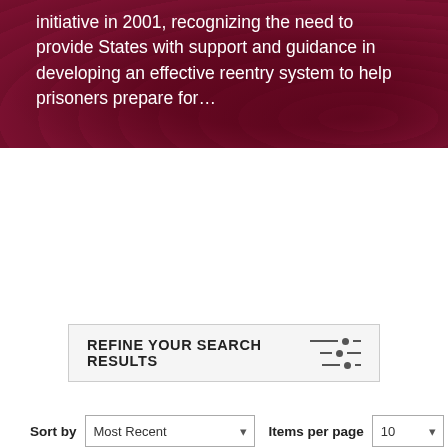initiative in 2001, recognizing the need to provide States with support and guidance in developing an effective reentry system to help prisoners prepare for…
REFINE YOUR SEARCH RESULTS
Search the Library
SEARCH
Sort by  Most Recent    Items per page  10